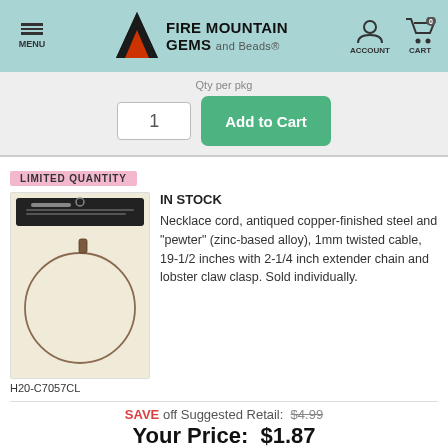Fire Mountain Gems and Beads — MENU | ACCOUNT | CART 0
1   Add to Cart
LIMITED QUANTITY
IN STOCK
[Figure (photo): Product photo of a necklace cord in packaging — antiqued copper-finished steel twisted cable on a beige display card]
H20-C7057CL
Necklace cord, antiqued copper-finished steel and "pewter" (zinc-based alloy), 1mm twisted cable, 19-1/2 inches with 2-1/4 inch extender chain and lobster claw clasp. Sold individually.
SAVE off Suggested Retail: $4.99
Your Price: $1.87
Only $1.87 per necklace
1   Add to Cart